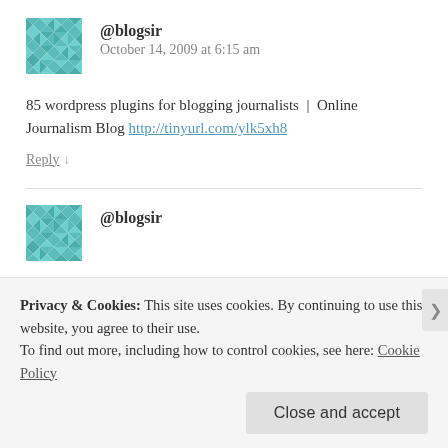[Figure (illustration): Teal/green patterned avatar icon for user @blogsir]
@blogsir
October 14, 2009 at 6:15 am
85 wordpress plugins for blogging journalists  |  Online Journalism Blog http://tinyurl.com/ylk5xh8
Reply ↓
[Figure (illustration): Teal/green patterned avatar icon for user @blogsir (second comment)]
@blogsir
Privacy & Cookies: This site uses cookies. By continuing to use this website, you agree to their use.
To find out more, including how to control cookies, see here: Cookie Policy